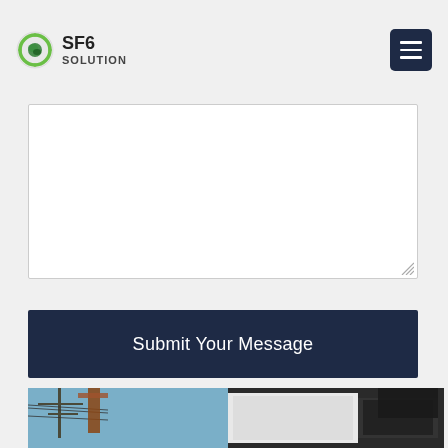SF6 SOLUTION
[Figure (screenshot): Empty textarea form field with resize handle in bottom-right corner]
Submit Your Message
[Figure (photo): Outdoor photo showing electrical transmission towers, power lines against a blue sky, and a white vehicle or equipment in the foreground right side]